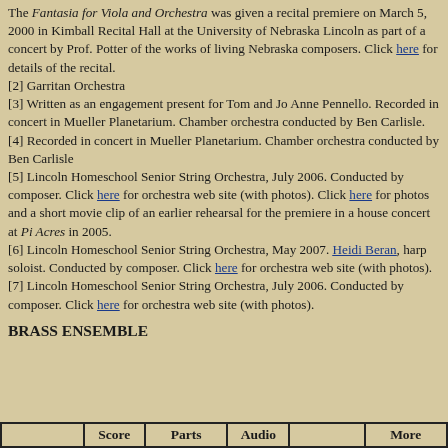The Fantasia for Viola and Orchestra was given a recital premiere on March 5, 2000 in Kimball Recital Hall at the University of Nebraska Lincoln as part of a concert by Prof. Potter of the works of living Nebraska composers.  Click here for details of the recital.
[2] Garritan Orchestra
[3] Written as an engagement present for Tom and Jo Anne Pennello.  Recorded in concert in Mueller Planetarium.  Chamber orchestra conducted by Ben Carlisle.
[4] Recorded in concert in Mueller Planetarium.  Chamber orchestra conducted by Ben Carlisle
[5] Lincoln Homeschool Senior String Orchestra, July 2006.  Conducted by composer.  Click here for orchestra web site (with photos).  Click here for photos and a short movie clip of an earlier rehearsal for the premiere in a house concert at Pi Acres in 2005.
[6] Lincoln Homeschool Senior String Orchestra, May 2007.  Heidi Beran, harp soloist.  Conducted by composer.  Click here for orchestra web site (with photos).
[7] Lincoln Homeschool Senior String Orchestra, July 2006.  Conducted by composer.  Click here for orchestra web site (with photos).
BRASS ENSEMBLE
|  | Score | Parts | Audio |  | More |
| --- | --- | --- | --- | --- | --- |